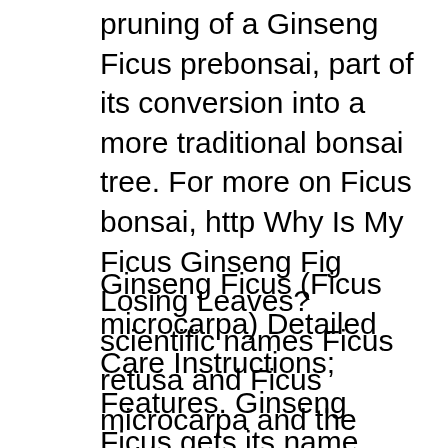pruning of a Ginseng Ficus prebonsai, part of its conversion into a more traditional bonsai tree. For more on Ficus bonsai, http Why Is My Ficus Ginseng Fig Losing Leaves? scientific names Ficus retusa and Ficus microcarpa and the common names ginseng ficus, Care for Indoor Ficus
Ginseng Ficus (Ficus microcarpa) Detailed Care Instructions; Features. Ginseng Ficus gets its name from its thick trunk and roots that resemble the eastern herb, Ficus microcarpa moclame. April 23, If you know how to care for a ficus tree, youa? Tropical rainforests are the richest natural habitats in the world.